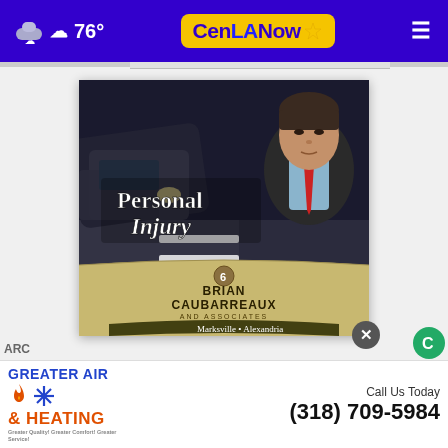76° CenLANow
[Figure (photo): Brian Caubarreaux and Associates Personal Injury law firm advertisement. Shows a car accident scene with text 'Personal Injury' and a photo of a man in a suit with red tie. Bottom banner reads 'BRIAN CAUBARREAUX AND ASSOCIATES, Marksville • Alexandria, doitright.com']
[Figure (logo): Greater Air & Heating advertisement. Blue text 'GREATER AIR' with flame and snowflake icons, orange text '& HEATING'. Right side: 'Call Us Today (318) 709-5984']
ARC